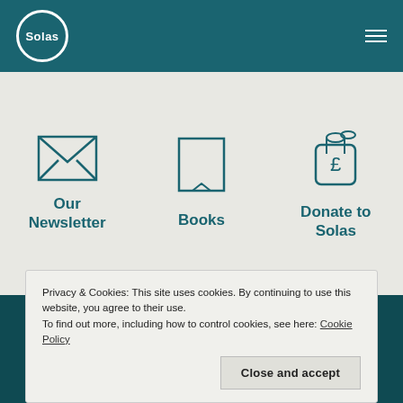Solas
[Figure (illustration): Three icons in a light grey panel: envelope/newsletter icon, open book icon, and charity donation tin with pound sign icon]
Our Newsletter
Books
Donate to Solas
Privacy & Cookies: This site uses cookies. By continuing to use this website, you agree to their use. To find out more, including how to control cookies, see here: Cookie Policy
Close and accept